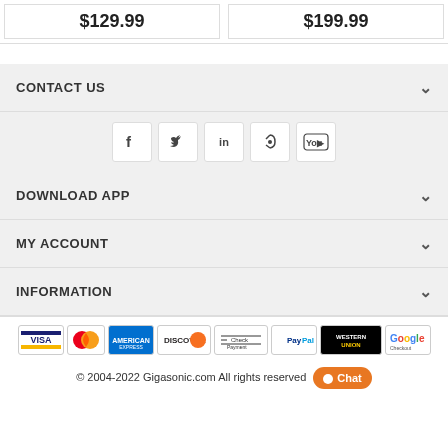$129.99
$199.99
CONTACT US
[Figure (infographic): Social media icons: Facebook, Twitter, LinkedIn, RSS, YouTube]
DOWNLOAD APP
MY ACCOUNT
INFORMATION
[Figure (infographic): Payment method logos: Visa, Mastercard, American Express, Discover, Check Payment, PayPal, Western Union, Google Checkout]
© 2004-2022 Gigasonic.com All rights reserved